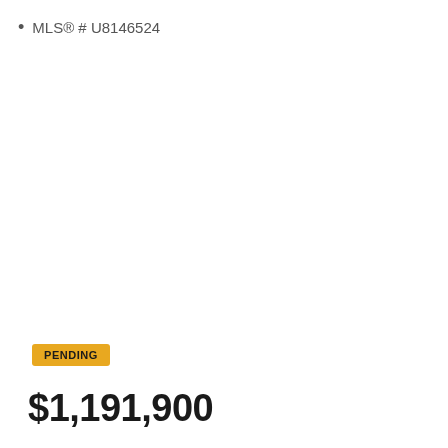MLS® # U8146524
PENDING
$1,191,900